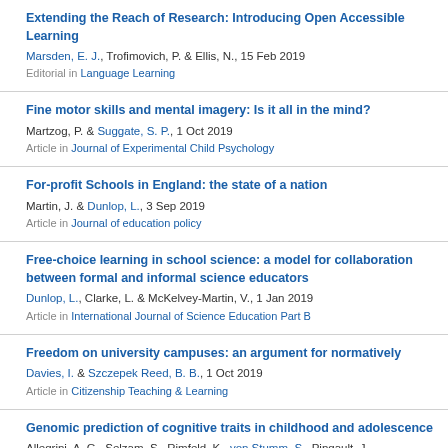Extending the Reach of Research: Introducing Open Accessible Learning
Marsden, E. J., Trofimovich, P. & Ellis, N., 15 Feb 2019
Editorial in Language Learning
Fine motor skills and mental imagery: Is it all in the mind?
Martzog, P. & Suggate, S. P., 1 Oct 2019
Article in Journal of Experimental Child Psychology
For-profit Schools in England: the state of a nation
Martin, J. & Dunlop, L., 3 Sep 2019
Article in Journal of education policy
Free-choice learning in school science: a model for collaboration between formal and informal science educators
Dunlop, L., Clarke, L. & McKelvey-Martin, V., 1 Jan 2019
Article in International Journal of Science Education Part B
Freedom on university campuses: an argument for normatively...
Davies, I. & Szczepek Reed, B. B., 1 Oct 2019
Article in Citizenship Teaching & Learning
Genomic prediction of cognitive traits in childhood and adolescence...
Allegrini, A. G., Selzam, S., Rimfeld, K., von Stumm, S., Pingault, J. ...
Article in Molecular psychiatry